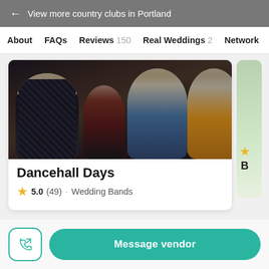← View more country clubs in Portland
About   FAQs   Reviews 150   Real Weddings 2   Network
[Figure (photo): Photo of people at an event — a man in a patterned shirt, a woman in red, two women in beige/cream tops, one wearing an orange skirt]
Dancehall Days
★ 5.0 (49) · Wedding Bands
Message vendor